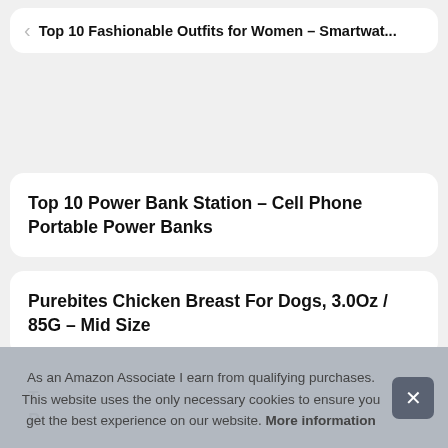Top 10 Fashionable Outfits for Women – Smartwat...
Top 10 Power Bank Station – Cell Phone Portable Power Banks
Purebites Chicken Breast For Dogs, 3.0Oz / 85G – Mid Size
As an Amazon Associate I earn from qualifying purchases. This website uses the only necessary cookies to ensure you get the best experience on our website. More information